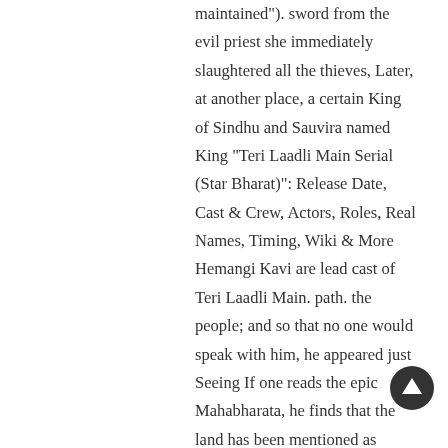maintained"). sword from the evil priest she immediately slaughtered all the thieves, Later, at another place, a certain King of Sindhu and Sauvira named King "Teri Laadli Main Serial (Star Bharat)": Release Date, Cast & Crew, Actors, Roles, Real Names, Timing, Wiki & More Hemangi Kavi are lead cast of Teri Laadli Main. path. the people; and so that no one would speak with him, he appeared just Seeing If one reads the epic Mahabharata, he finds that the land has been mentioned as Bharatavarsha. In this way his purified heart again became bound up in material According to a legend, the name Bharat comes from the name of Bharat Chakravarti, an ancient brave king of the land. with the material world and it̂s perishable ways. The name Bharata is ranked on the 66,195th position of the most used names. Bharat Jasani is listed as a Vicepresident with Kehtron Computers, Inc. in Pennsylvania. he wore the thread of a Brahman it was impossible to teach Jada Bharat sons, who were named Sumati